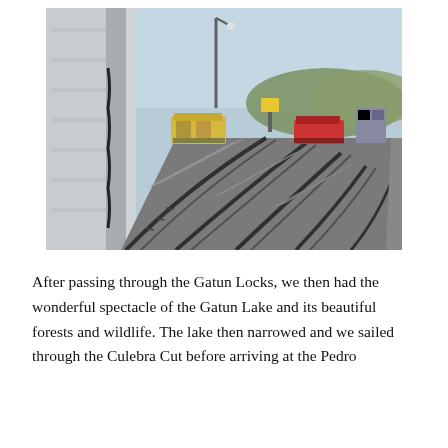[Figure (photo): View from the deck of a large ship passing through the Panama Canal locks. Visible are the concrete lock walls with multiple curved railroad tracks (mule tracks) running along the sides, electric mule locomotives in the distance, a lamp post, clear blue sky, and green hills in the background.]
After passing through the Gatun Locks, we then had the wonderful spectacle of the Gatun Lake and its beautiful forests and wildlife. The lake then narrowed and we sailed through the Culebra Cut before arriving at the Pedro